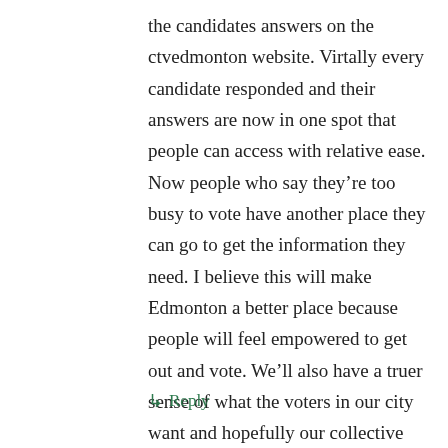the candidates answers on the ctvedmonton website. Virtally every candidate responded and their answers are now in one spot that people can access with relative ease. Now people who say they're too busy to vote have another place they can go to get the information they need. I believe this will make Edmonton a better place because people will feel empowered to get out and vote. We'll also have a truer sense of what the voters in our city want and hopefully our collective voice will echo through the chamber of City Hall for the next three years.
↳ Reply